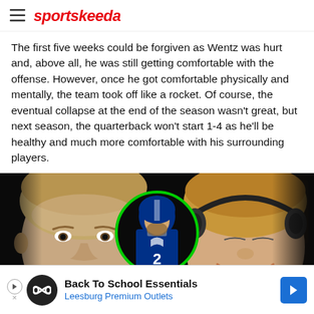sportskeeda
The first five weeks could be forgiven as Wentz was hurt and, above all, he was still getting comfortable with the offense. However, once he got comfortable physically and mentally, the team took off like a rocket. Of course, the eventual collapse at the end of the season wasn't great, but next season, the quarterback won't start 1-4 as he'll be healthy and much more comfortable with his surrounding players.
[Figure (photo): Podcast screenshot showing two men sitting at a table in a dark studio setting, with a circular inset of a football player in a blue Indianapolis Colts jersey number 2 (Carson Wentz) centered between them. The player circle has a green border.]
[Figure (infographic): Advertisement banner: Back To School Essentials - Leesburg Premium Outlets, with infinity loop icon and blue arrow navigation button.]